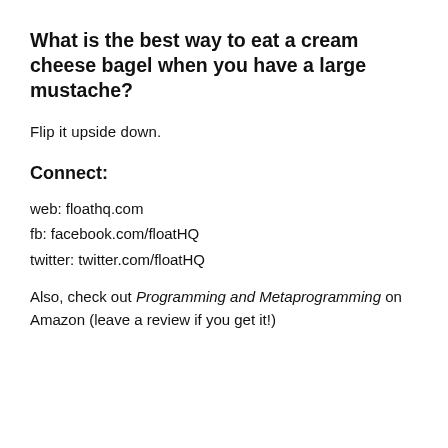What is the best way to eat a cream cheese bagel when you have a large mustache?
Flip it upside down.
Connect:
web: floathq.com
fb: facebook.com/floatHQ
twitter: twitter.com/floatHQ
Also, check out Programming and Metaprogramming on Amazon (leave a review if you get it!)